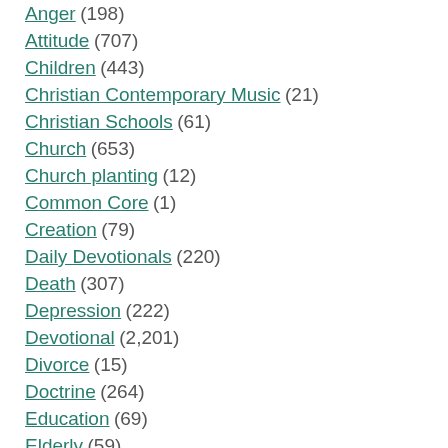Anger (198)
Attitude (707)
Children (443)
Christian Contemporary Music (21)
Christian Schools (61)
Church (653)
Church planting (12)
Common Core (1)
Creation (79)
Daily Devotionals (220)
Death (307)
Depression (222)
Devotional (2,201)
Divorce (15)
Doctrine (264)
Education (69)
Elderly (59)
Evolution (32)
Faith (1,294)